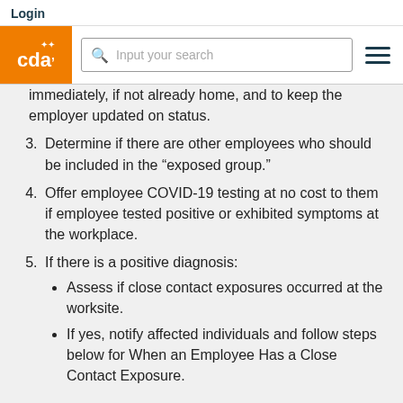Login
[Figure (screenshot): CDA website navigation header with orange CDA logo, search box reading 'Input your search', and hamburger menu icon]
immediately, if not already home, and to keep the employer updated on status.
3. Determine if there are other employees who should be included in the “exposed group.”
4. Offer employee COVID-19 testing at no cost to them if employee tested positive or exhibited symptoms at the workplace.
5. If there is a positive diagnosis:
Assess if close contact exposures occurred at the worksite.
If yes, notify affected individuals and follow steps below for When an Employee Has a Close Contact Exposure.